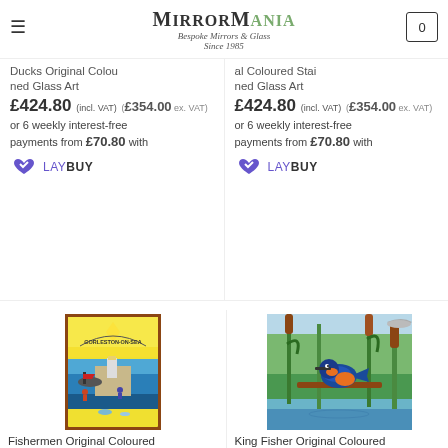MirrorMania — Bespoke Mirrors & Glass Since 1985
Ducks Original Coloured Stained Glass Art
£424.80 (incl. VAT) (£354.00 ex. VAT)
or 6 weekly interest-free payments from £70.80 with
LAYBUY
Ducks Original Coloured Stained Glass Art
£424.80 (incl. VAT) (£354.00 ex. VAT)
or 6 weekly interest-free payments from £70.80 with
LAYBUY
[Figure (photo): Fishermen Original Coloured Stained Glass Art — stained glass panel depicting Gorleston-on-Sea harbour scene with boats, lighthouse, and fishermen]
[Figure (photo): King Fisher Original Coloured Stained Glass Art — stained glass panel depicting a kingfisher bird perched on a branch with reeds and water background]
Fishermen Original Coloured Stained Glass Art
£568.80 (incl. VAT) (£474.00 ex. VAT)
or 6 weekly interest-free payments from £94.80 with
LAYBUY
King Fisher Original Coloured Stained Glass Art
£540.00 (incl. VAT) (£450.00 ex. VAT)
or 6 weekly interest-free payments from £90.00 with
LAYBUY